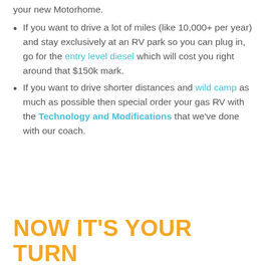your new Motorhome.
If you want to drive a lot of miles (like 10,000+ per year) and stay exclusively at an RV park so you can plug in, go for the entry level diesel which will cost you right around that $150k mark.
If you want to drive shorter distances and wild camp as much as possible then special order your gas RV with the Technology and Modifications that we've done with our coach.
NOW IT'S YOUR TURN